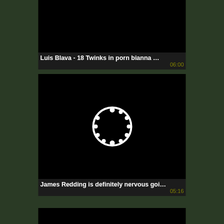[Figure (screenshot): Video thumbnail 1 - black background, no preview image]
Luis Blava - 18 Twinks in porn bianna …
06:00
[Figure (screenshot): Video thumbnail 2 - black background with loading spinner circle]
James Redding is definitely nervous goi…
05:16
[Figure (screenshot): Video thumbnail 3 - black background with loading spinner circle]